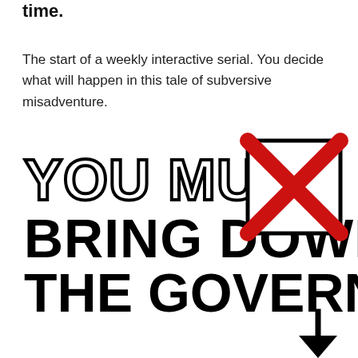time.
The start of a weekly interactive serial. You decide what will happen in this tale of subversive misadventure.
[Figure (illustration): Large bold text reading 'YOU MUST BRING DOWN THE GOVERNMENT' with a ballot box marked with a red X and a downward arrow, forming a graphic editorial illustration.]